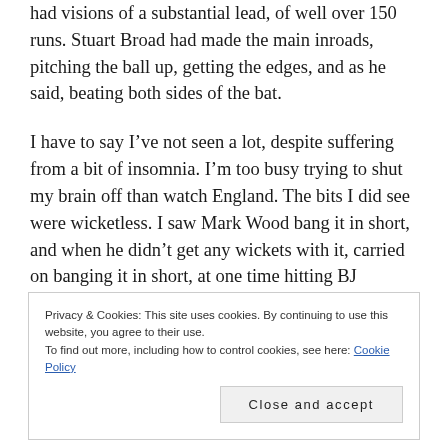had visions of a substantial lead, of well over 150 runs. Stuart Broad had made the main inroads, pitching the ball up, getting the edges, and as he said, beating both sides of the bat.
I have to say I’ve not seen a lot, despite suffering from a bit of insomnia. I’m too busy trying to shut my brain off than watch England. The bits I did see were wicketless. I saw Mark Wood bang it in short, and when he didn’t get any wickets with it, carried on banging it in short, at one time hitting BJ Watling. I’d seen de Grandhomme latch on to early short stuff and get his innings going. I feared the
Privacy & Cookies: This site uses cookies. By continuing to use this website, you agree to their use.
To find out more, including how to control cookies, see here: Cookie Policy